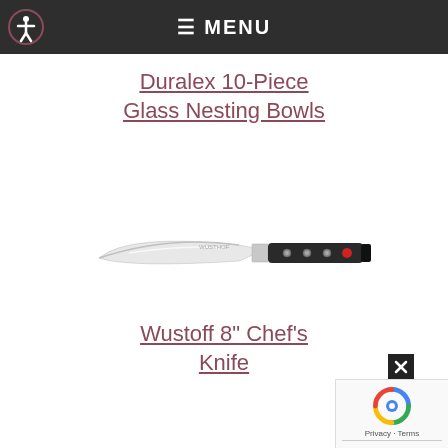☰ MENU
Duralex 10-Piece Glass Nesting Bowls
[Figure (photo): Chef's knife with black handle and silver blade, Wüsthof Classic 8-inch Chef's Knife]
Wustoff 8" Chef's Knife
[Figure (other): reCAPTCHA widget with close button]